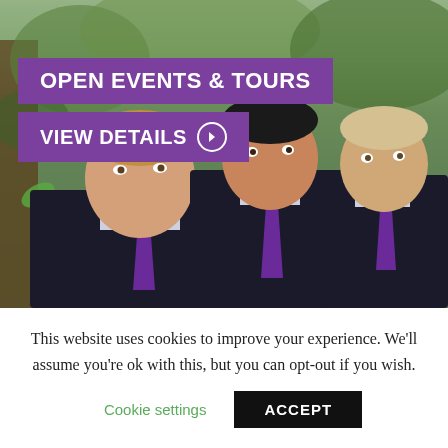[Figure (photo): Three school boys in dark suits and purple ties standing outdoors with green foliage in background]
OPEN EVENTS & TOURS
VIEW DETAILS ➔
This website uses cookies to improve your experience. We'll assume you're ok with this, but you can opt-out if you wish.
Cookie settings
ACCEPT